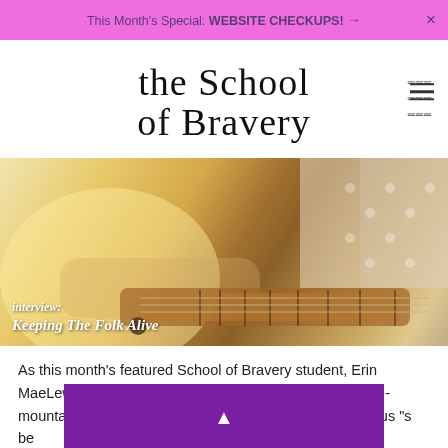This Month's Special: WEBSITE CHECKUPS! → ×
the School of Bravery
[Figure (photo): Close-up photo of a person in a crochet/lace sleeve playing a mountain dulcimer or lap guitar, warm golden-yellow tones, with overlay text 'interview: Keeping The Folk Alive']
interview: Keeping The Folk Alive
As this month's featured School of Bravery student, Erin MaeLewis is with us this week! We talk about folk music -- mountain dulcimer, specifically -- and some of her previous "s...be...
[Figure (other): Purple popup bar with white upward-pointing triangle arrow]